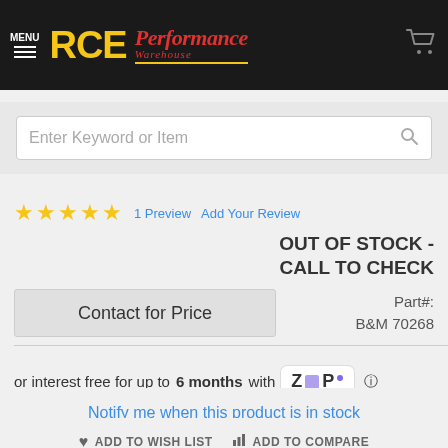[Figure (logo): RCE Performance Warehouse logo with yellow RCE text and red italic Performance Warehouse text on dark background, with shopping cart icon on right]
Enter Keyword or Item
1 Preview   Add Your Review
OUT OF STOCK - CALL TO CHECK
Part#: B&M 70268
Contact for Price
or interest free for up to 6 months with Zip
Notify me when this product is in stock
ADD TO WISH LIST
ADD TO COMPARE
EMAIL